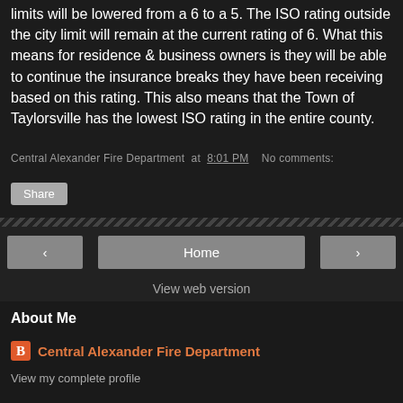limits will be lowered from a 6 to a 5. The ISO rating outside the city limit will remain at the current rating of 6. What this means for residence & business owners is they will be able to continue the insurance breaks they have been receiving based on this rating. This also means that the Town of Taylorsville has the lowest ISO rating in the entire county.
Central Alexander Fire Department at 8:01 PM   No comments:
Share
‹   Home   ›
View web version
About Me
Central Alexander Fire Department
View my complete profile
Powered by Blogger.